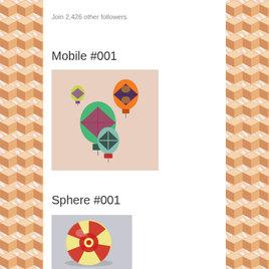Join 2,426 other followers
Mobile #001
[Figure (photo): Four colorful hot air balloon ornaments hanging as a mobile against a light pink background. Balloons feature diamond/checkered patterns in various color combinations: yellow-green/purple, pink/green, orange/dark blue, and teal/black.]
Sphere #001
[Figure (photo): A decorative sphere with red and cream/yellow checkered pattern, sitting on a surface.]